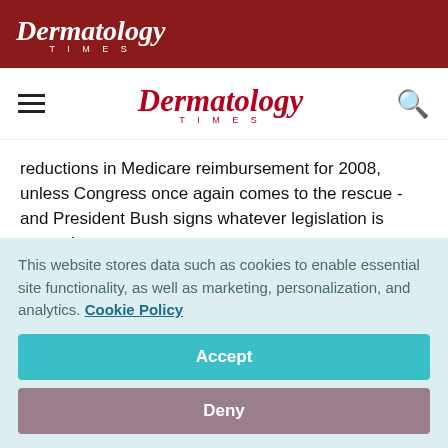Dermatology Times
Dermatology Times
reductions in Medicare reimbursement for 2008, unless Congress once again comes to the rescue - and President Bush signs whatever legislation is passed.
For many dermatologists, though, the issue goes beyond the average 10.1 percent fee schedule cut confronting all physicians unless a solution is found, because the rule
This website stores data such as cookies to enable essential site functionality, as well as marketing, personalization, and analytics. Cookie Policy
Accept
Deny